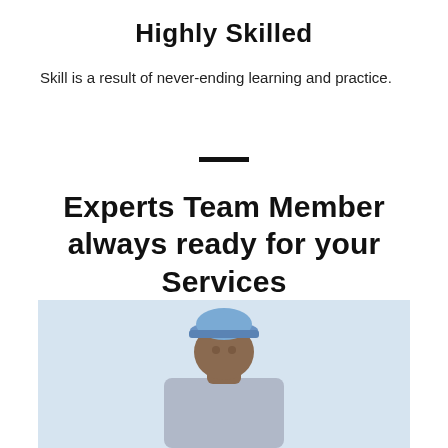Highly Skilled
Skill is a result of never-ending learning and practice.
Experts Team Member always ready for your Services
[Figure (photo): Person wearing a blue baseball cap, photo cropped at shoulders, light background]